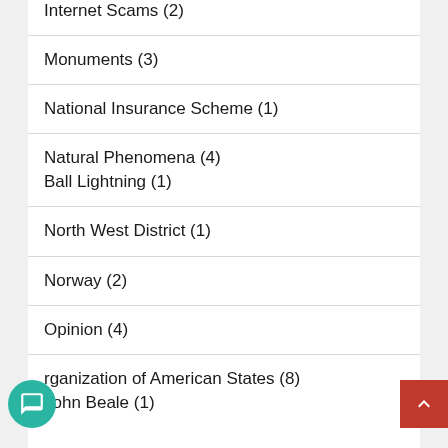Internet Scams (2)
Monuments (3)
National Insurance Scheme (1)
Natural Phenomena (4)
Ball Lightning (1)
North West District (1)
Norway (2)
Opinion (4)
Organization of American States (8)
John Beale (1)